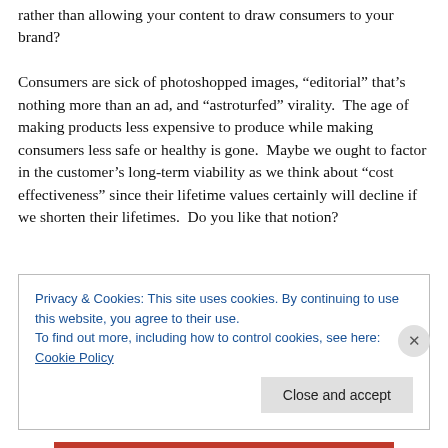rather than allowing your content to draw consumers to your brand?

Consumers are sick of photoshopped images, “editorial” that’s nothing more than an ad, and “astroturfed” virality.  The age of making products less expensive to produce while making consumers less safe or healthy is gone.  Maybe we ought to factor in the customer’s long-term viability as we think about “cost effectiveness” since their lifetime values certainly will decline if we shorten their lifetimes.  Do you like that notion?
Privacy & Cookies: This site uses cookies. By continuing to use this website, you agree to their use.
To find out more, including how to control cookies, see here: Cookie Policy
Close and accept